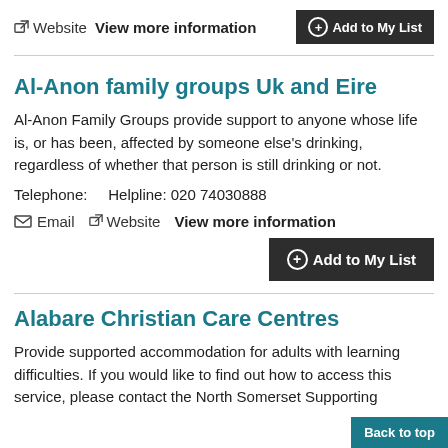Website  View more information  +Add to My List
Al-Anon family groups Uk and Eire
Al-Anon Family Groups provide support to anyone whose life is, or has been, affected by someone else’s drinking, regardless of whether that person is still drinking or not.
Telephone:    Helpline: 020 74030888
Email  Website  View more information
+Add to My List
Alabare Christian Care Centres
Provide supported accommodation for adults with learning difficulties. If you would like to find out how to access this service, please contact the North Somerset Supporting